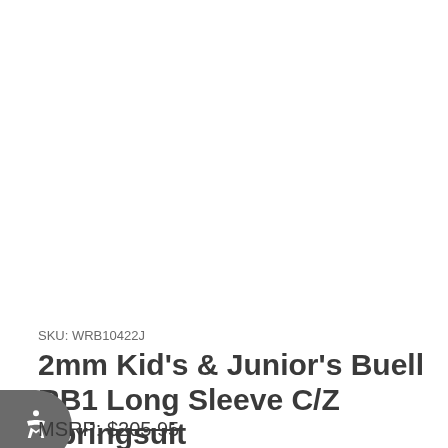SKU: WRB10422J
2mm Kid's & Junior's Buell RB1 Long Sleeve C/Z Springsuit
MSRP: $205.95